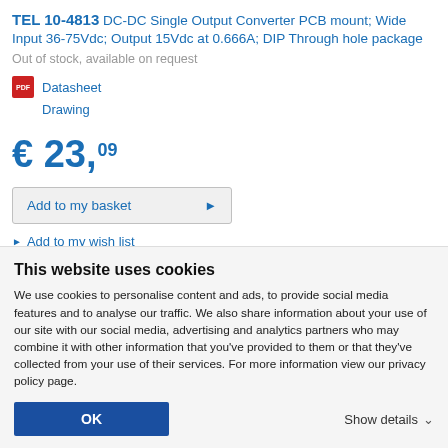TEL 10-4813 DC-DC Single Output Converter PCB mount; Wide Input 36-75Vdc; Output 15Vdc at 0.666A; DIP Through hole package
Out of stock, available on request
Datasheet
Drawing
€ 23,09
Add to my basket
Add to my wish list
Add to my quote list
This website uses cookies
We use cookies to personalise content and ads, to provide social media features and to analyse our traffic. We also share information about your use of our site with our social media, advertising and analytics partners who may combine it with other information that you've provided to them or that they've collected from your use of their services. For more information view our privacy policy page.
OK
Show details